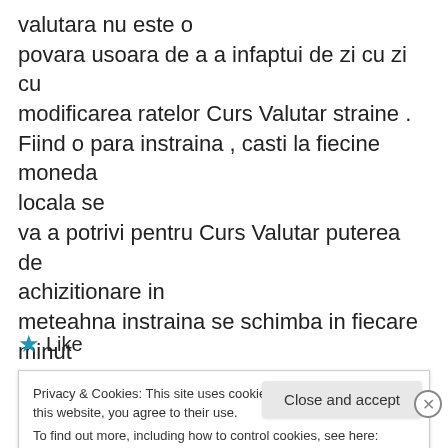valutara nu este o povara usoara de a a infaptui de zi cu zi cu modificarea ratelor Curs Valutar straine . Fiind o para instraina , casti la fiecine moneda locala se va a potrivi pentru Curs Valutar puterea de achizitionare in meteahna instraina se schimba in fiecare minut uro .
★ Like
Privacy & Cookies: This site uses cookies. By continuing to use this website, you agree to their use. To find out more, including how to control cookies, see here: Cookie Policy
Close and accept